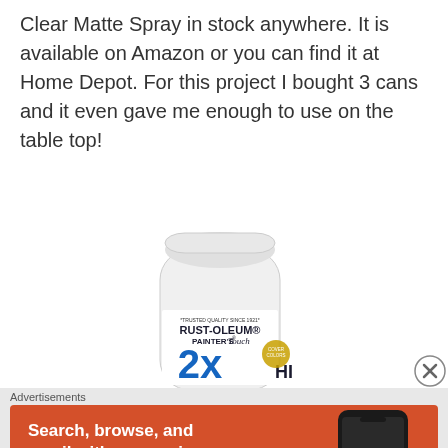Clear Matte Spray in stock anywhere. It is available on Amazon or you can find it at Home Depot. For this project I bought 3 cans and it even gave me enough to use on the table top!
[Figure (photo): Rust-Oleum Painter's Touch 2x spray can, white with blue label]
[Figure (photo): Close button (X circle) in top right]
Advertisements
[Figure (illustration): DuckDuckGo advertisement banner: Search, browse, and email with more privacy. All in One Free App. Shows a phone with DuckDuckGo logo.]